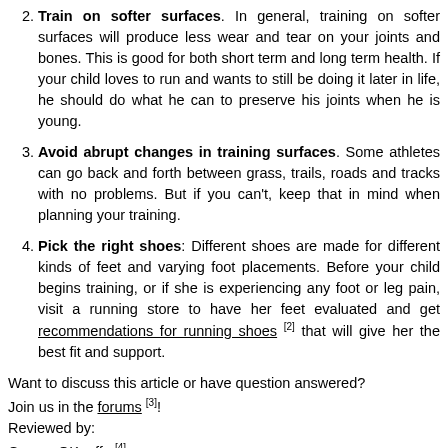2. Train on softer surfaces. In general, training on softer surfaces will produce less wear and tear on your joints and bones. This is good for both short term and long term health. If your child loves to run and wants to still be doing it later in life, he should do what he can to preserve his joints when he is young.
3. Avoid abrupt changes in training surfaces. Some athletes can go back and forth between grass, trails, roads and tracks with no problems. But if you can't, keep that in mind when planning your training.
4. Pick the right shoes: Different shoes are made for different kinds of feet and varying foot placements. Before your child begins training, or if she is experiencing any foot or leg pain, visit a running store to have her feet evaluated and get recommendations for running shoes [2] that will give her the best fit and support.
Want to discuss this article or have question answered? Join us in the forums [3]! Reviewed by: Gwenn OKeeffe [4] Teaser title: Shin Splints: Causes, Symptoms, Treatment and Prevention